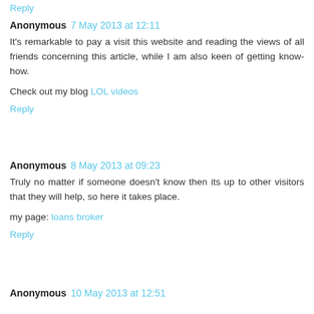Reply
Anonymous 7 May 2013 at 12:11
It's remarkable to pay a visit this website and reading the views of all friends concerning this article, while I am also keen of getting know-how.
Check out my blog LOL videos
Reply
Anonymous 8 May 2013 at 09:23
Truly no matter if someone doesn't know then its up to other visitors that they will help, so here it takes place.
my page: loans broker
Reply
Anonymous 10 May 2013 at 12:51